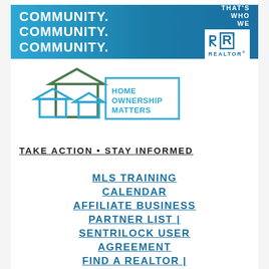[Figure (logo): Realtor banner ad with text COMMUNITY. COMMUNITY. COMMUNITY. on blue gradient background, with THAT'S WHO WE R REALTOR logo on the right]
[Figure (logo): Home Ownership Matters logo with house outlines in green and blue and text in blue box]
TAKE ACTION • STAY INFORMED
MLS TRAINING CALENDAR
AFFILIATE BUSINESS PARTNER LIST | SENTRILOCK USER AGREEMENT
FIND A REALTOR | HOW DO I BECOME A REALTOR?